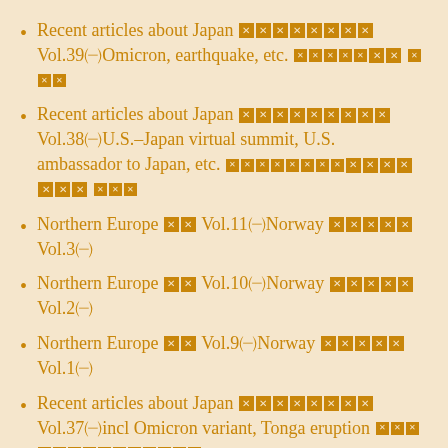Recent articles about Japan xxxxxxxx Vol.39　Omicron, earthquake, etc. xxxxxx×× xxx
Recent articles about Japan xxxxxxxxx Vol.38　U.S.-Japan virtual summit, U.S. ambassador to Japan, etc. xxxxxxxx×xxxxxx× xxx
Northern Europe ×× Vol.11　Norway xxxxx Vol.3
Northern Europe ×× Vol.10　Norway xxxxx Vol.2
Northern Europe ×× Vol.9　Norway xxxxx Vol.1
Recent articles about Japan xxxxxxxx Vol.37　incl Omicron variant, Tonga eruption xxxxxxxxxxxxxx
#Coronavirus #xxxxxxx Vol.34　Omicron